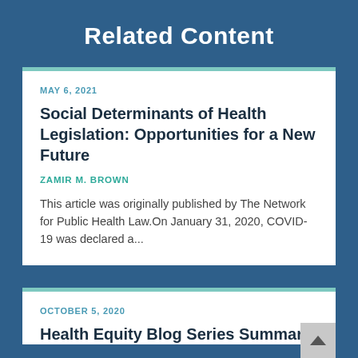Related Content
MAY 6, 2021
Social Determinants of Health Legislation: Opportunities for a New Future
ZAMIR M. BROWN
This article was originally published by The Network for Public Health Law.On January 31, 2020, COVID-19 was declared a...
OCTOBER 5, 2020
Health Equity Blog Series Summary: